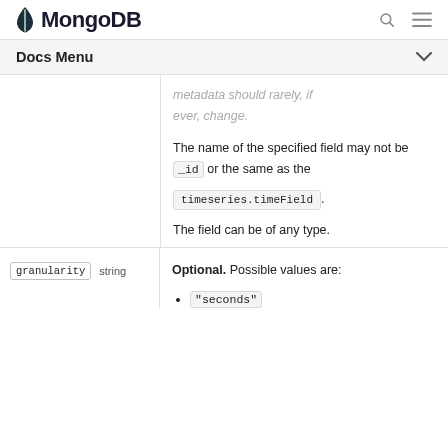MongoDB
Docs Menu
metadata should rarely, if ever, change.
The name of the specified field may not be _id or the same as the timeseries.timeField. The field can be of any type.
| Parameter | Type | Description |
| --- | --- | --- |
| granularity | string | Optional. Possible values are: "seconds" |
"seconds"